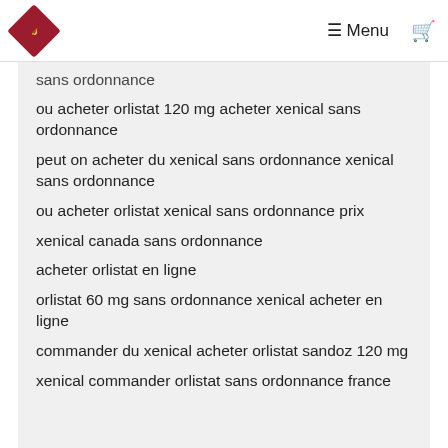Menu
sans ordonnance
ou acheter orlistat 120 mg acheter xenical sans ordonnance
peut on acheter du xenical sans ordonnance xenical sans ordonnance
ou acheter orlistat xenical sans ordonnance prix
xenical canada sans ordonnance
acheter orlistat en ligne
orlistat 60 mg sans ordonnance xenical acheter en ligne
commander du xenical acheter orlistat sandoz 120 mg
xenical commander orlistat sans ordonnance france